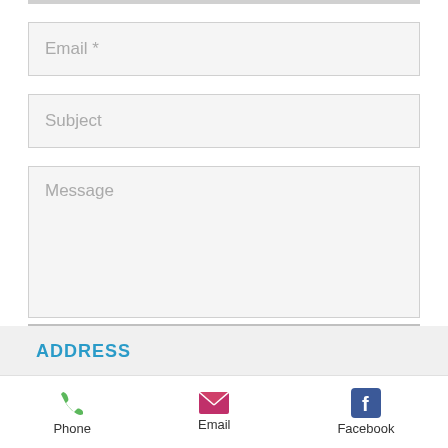[Figure (screenshot): Contact form with Email, Subject, Message fields and Send button]
ADDRESS
[Figure (infographic): Footer navigation bar with Phone (green phone icon), Email (pink envelope icon), and Facebook (blue F icon) items]